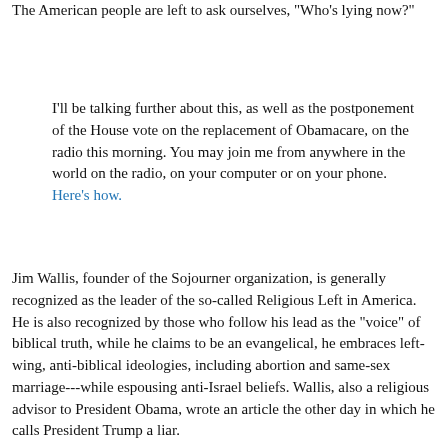The American people are left to ask ourselves, "Who's lying now?"
I'll be talking further about this, as well as the postponement of the House vote on the replacement of Obamacare, on the radio this morning. You may join me from anywhere in the world on the radio, on your computer or on your phone. Here's how.
Jim Wallis, founder of the Sojourner organization, is generally recognized as the leader of the so-called Religious Left in America. He is also recognized by those who follow his lead as the "voice" of biblical truth, while he claims to be an evangelical, he embraces left-wing, anti-biblical ideologies, including abortion and same-sex marriage---while espousing anti-Israel beliefs. Wallis, also a religious advisor to President Obama, wrote an article the other day in which he calls President Trump a liar.